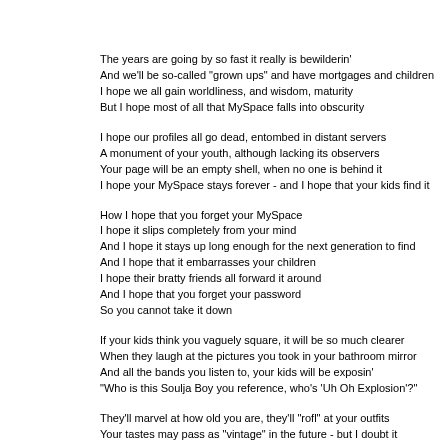The years are going by so fast it really is bewilderin'
And we'll be so-called "grown ups" and have mortgages and children
I hope we all gain worldliness, and wisdom, maturity
But I hope most of all that MySpace falls into obscurity
I hope our profiles all go dead, entombed in distant servers
A monument of your youth, although lacking its observers
Your page will be an empty shell, when no one is behind it
I hope your MySpace stays forever - and I hope that your kids find it
How I hope that you forget your MySpace
I hope it slips completely from your mind
And I hope it stays up long enough for the next generation to find
And I hope that it embarrasses your children
I hope their bratty friends all forward it around
And I hope that you forget your password
So you cannot take it down
If your kids think you vaguely square, it will be so much clearer
When they laugh at the pictures you took in your bathroom mirror
And all the bands you listen to, your kids will be exposin'
"Who is this Soulja Boy you reference, who's 'Uh Oh Explosion'?"
They'll marvel at how old you are, they'll "rofl" at your outfits
Your tastes may pass as "vintage" in the future - but I doubt it
I hope your cynical kids say, "Holy crap, this is great
these comments date all the way back to 2008."
I hope they dig through your pictures, and find some we might call compromising
I hope that seeing young Mom in a swimsuit or smoking a hookah isn't too trauma
But it will be past their comprehension
They'll ask "Did Grandma not give you enough attention?"